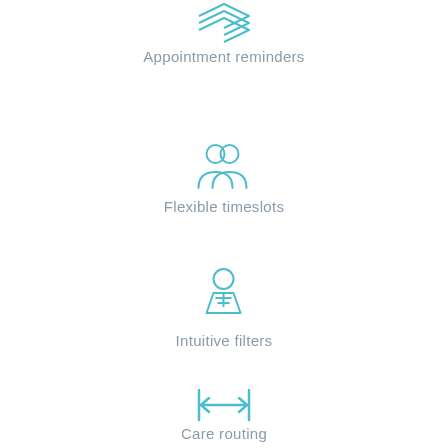[Figure (illustration): Teal outline icon of stacked layers/cards representing appointment reminders]
Appointment reminders
[Figure (illustration): Teal outline icon of two people/users representing flexible timeslots]
Flexible timeslots
[Figure (illustration): Teal outline icon of a person with a filter/funnel shape representing intuitive filters]
Intuitive filters
[Figure (illustration): Teal outline icon of double-headed arrow between two vertical bars representing care routing]
Care routing